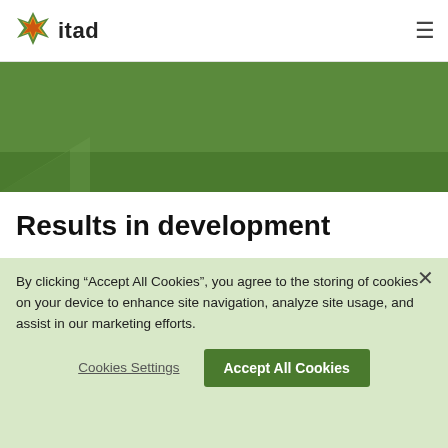[Figure (logo): itad logo with green/yellow/orange star-shaped graphic and bold text 'itad']
[Figure (illustration): Green banner/hero area with dark green diagonal stripe and triangle shapes at the bottom]
Results in development
Contact us
By clicking “Accept All Cookies”, you agree to the storing of cookies on your device to enhance site navigation, analyze site usage, and assist in our marketing efforts.
Cookies Settings
Accept All Cookies